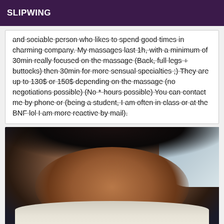SLIPWING
and sociable person who likes to spend good times in charming company. My massages last 1h, with a minimum of 30min really focused on the massage (Back, full legs + buttocks) then 30min for more sensual specialties ;) They are up to 130$ or 150$ depending on the massage (no negotiations possible) (No *-hours possible) You can contact me by phone or (being a student, I am often in class or at the BNF lol I am more reactive by mail).
[Figure (photo): Close-up photo of a person's face, appearing to be a selfie or candid shot with outdoor background visible.]